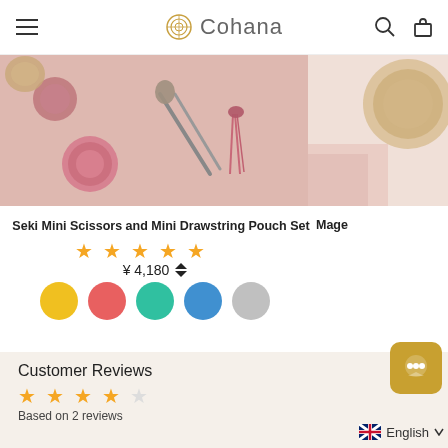Cohana
[Figure (photo): Product photo of Seki Mini Scissors and Mini Drawstring Pouch Set on a pink fabric background with tassel and floral button accessories]
Seki Mini Scissors and Mini Drawstring Pouch Set
[Figure (other): 5-star rating display in gold/orange stars]
¥ 4,180
[Figure (other): Color swatches: yellow, coral/red, teal/green, blue, gray]
Customer Reviews
[Figure (other): 4-star rating display (4 filled, 1 empty) in gold/orange stars]
Based on 2 reviews